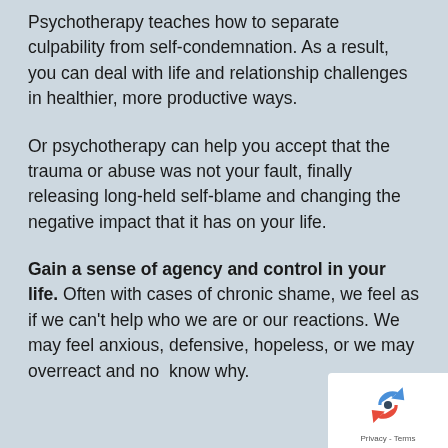Psychotherapy teaches how to separate culpability from self-condemnation. As a result, you can deal with life and relationship challenges in healthier, more productive ways.
Or psychotherapy can help you accept that the trauma or abuse was not your fault, finally releasing long-held self-blame and changing the negative impact that it has on your life.
Gain a sense of agency and control in your life. Often with cases of chronic shame, we feel as if we can't help who we are or our reactions. We may feel anxious, defensive, hopeless, or we may overreact and not know why.
[Figure (logo): reCAPTCHA badge with logo icon and Privacy - Terms text]